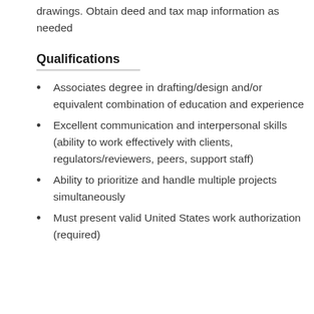drawings. Obtain deed and tax map information as needed
Qualifications
Associates degree in drafting/design and/or equivalent combination of education and experience
Excellent communication and interpersonal skills (ability to work effectively with clients, regulators/reviewers, peers, support staff)
Ability to prioritize and handle multiple projects simultaneously
Must present valid United States work authorization (required)